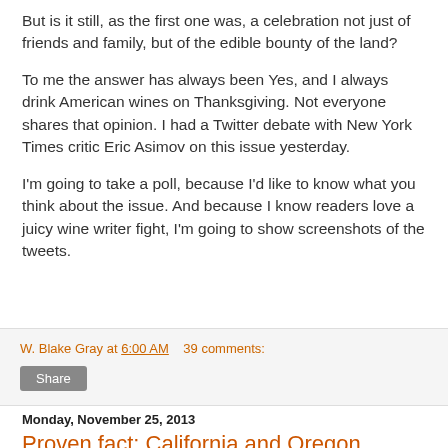But is it still, as the first one was, a celebration not just of friends and family, but of the edible bounty of the land?
To me the answer has always been Yes, and I always drink American wines on Thanksgiving. Not everyone shares that opinion. I had a Twitter debate with New York Times critic Eric Asimov on this issue yesterday.
I'm going to take a poll, because I'd like to know what you think about the issue. And because I know readers love a juicy wine writer fight, I'm going to show screenshots of the tweets.
W. Blake Gray at 6:00 AM   39 comments:
Share
Monday, November 25, 2013
Proven fact: California and Oregon